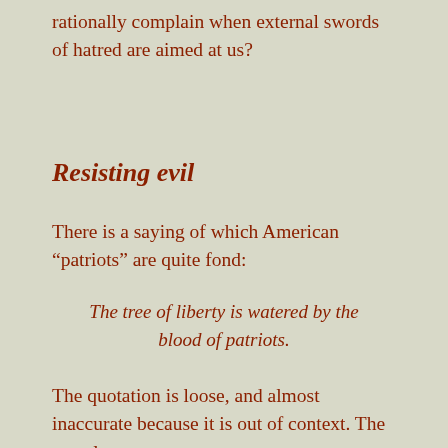rationally complain when external swords of hatred are aimed at us?
Resisting evil
There is a saying of which American “patriots” are quite fond:
The tree of liberty is watered by the blood of patriots.
The quotation is loose, and almost inaccurate because it is out of context. The actual quote